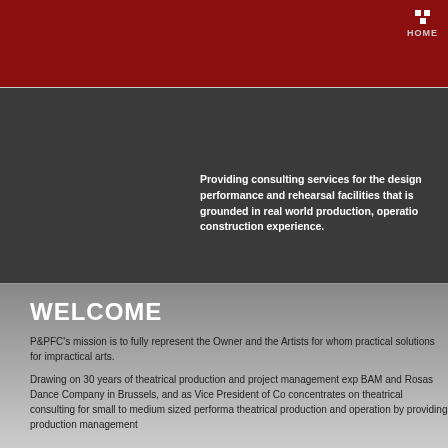HOME
Providing consulting services for the design performance and rehearsal facilities that is grounded in real world production, operation construction experience.
WELCOME
P&PFC's mission is to fully represent the Owner and the Artists for whom practical solutions for impractical arts.
Drawing on 30 years of theatrical production and project management experience BAM and Rosas Dance Company in Brussels, and as Vice President of Co concentrates on theatrical consulting for small to medium sized performance theatrical production and operation by providing production management